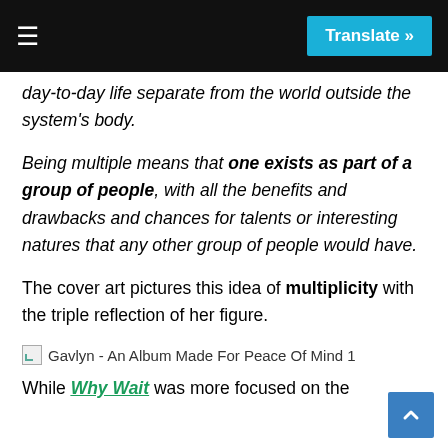≡  Translate »
day-to-day life separate from the world outside the system's body.
Being multiple means that one exists as part of a group of people, with all the benefits and drawbacks and chances for talents or interesting natures that any other group of people would have.
The cover art pictures this idea of multiplicity with the triple reflection of her figure.
[Figure (illustration): Broken image placeholder icon followed by text: Gavlyn - An Album Made For Peace Of Mind 1]
While Why Wait was more focused on the